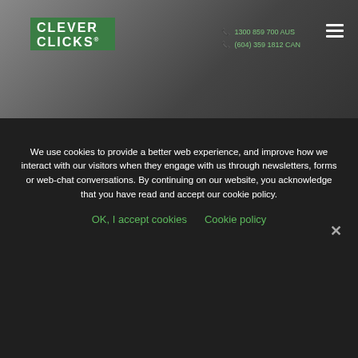[Figure (screenshot): Website header with Clever Clicks logo (white text on green background), phone numbers 1300 859 700 AUS and (604) 359 1812 CAN in green, hamburger menu icon in white, over a dark book stack photo background]
We use cookies to provide a better web experience, and improve how we interact with our visitors when they engage with us through newsletters, forms or web-chat conversations. By continuing on our website, you acknowledge that you have read and accept our cookie policy.
OK, I accept cookies   Cookie policy